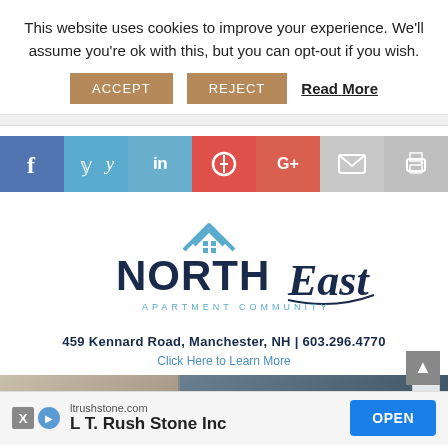This website uses cookies to improve your experience. We'll assume you're ok with this, but you can opt-out if you wish.
ACCEPT   REJECT   Read More
[Figure (infographic): Social media sharing bar with icons: Facebook (blue), Twitter (light blue), LinkedIn (light blue), Pinterest (red), Google+ (red-orange), Email (gray), Print (gray)]
[Figure (logo): NorthEast Apartment Community logo with house/roof icon in blue, bold NORTH text and cursive East text in dark navy, tagline APARTMENT COMMUNITY, address 459 Kennard Road, Manchester, NH | 603.296.4770, and Click Here to Learn More link]
[Figure (photo): Property photo showing residential buildings]
ltrushstone.com  L T. Rush Stone Inc  OPEN